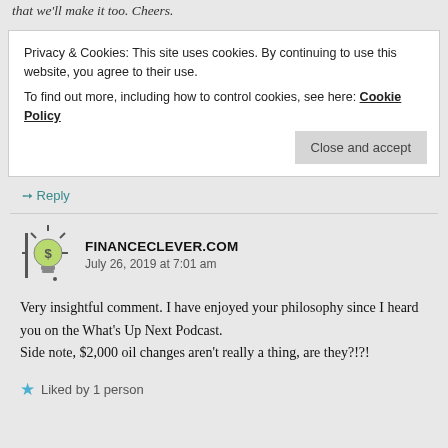that we'll make it too. Cheers.
Privacy & Cookies: This site uses cookies. By continuing to use this website, you agree to their use.
To find out more, including how to control cookies, see here: Cookie Policy
Close and accept
Reply
FINANCECLEVER.COM
July 26, 2019 at 7:01 am
Very insightful comment. I have enjoyed your philosophy since I heard you on the What's Up Next Podcast.
Side note, $2,000 oil changes aren't really a thing, are they?!?!
Liked by 1 person